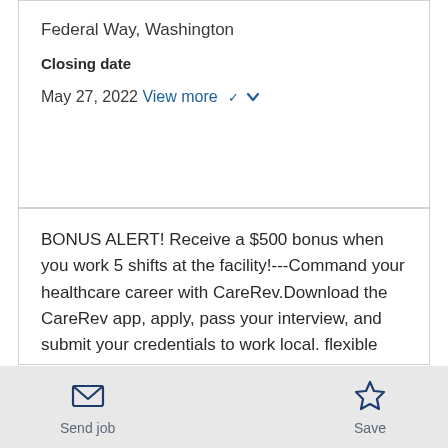Federal Way, Washington
Closing date
May 27, 2022
View more ˅
BONUS ALERT! Receive a $500 bonus when you work 5 shifts at the facility!---Command your healthcare career with CareRev.Download the CareRev app, apply, pass your interview, and submit your credentials to work local. flexible healthcare
Send job
Save